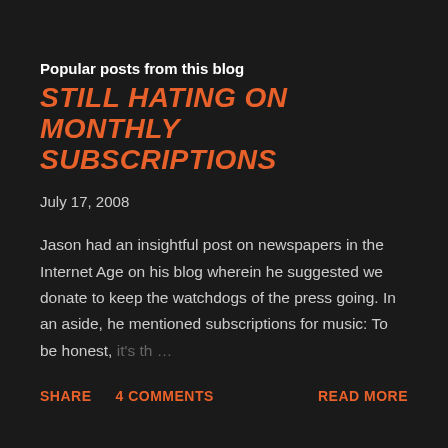Popular posts from this blog
STILL HATING ON MONTHLY SUBSCRIPTIONS
July 17, 2008
Jason had an insightful post on newspapers in the Internet Age on his blog wherein he suggested we donate to keep the watchdogs of the press going. In an aside, he mentioned subscriptions for music: To be honest, it's th …
SHARE   4 COMMENTS   READ MORE